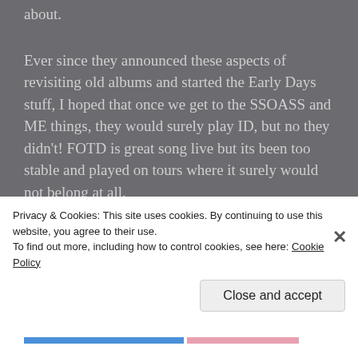about.
Ever since they announced these aspects of revisiting old albums and started the Early Days stuff, I hoped that once we get to the SSOASS and ME things, they would surely play ID, but no they didn't! FOTD is great song live but its been too stable and played on tours where it surely would not belong at all.
My life and dreams have gone through as I followed Maiden since '86 (or something), but I
Privacy & Cookies: This site uses cookies. By continuing to use this website, you agree to their use.
To find out more, including how to control cookies, see here: Cookie Policy
Close and accept